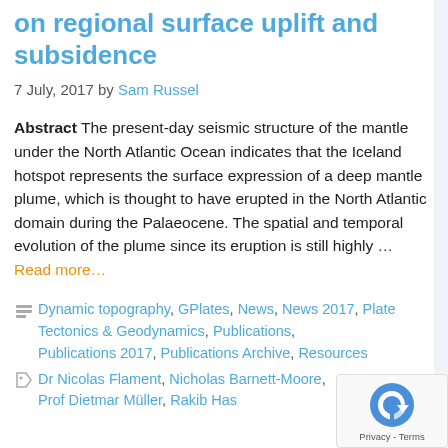on regional surface uplift and subsidence
7 July, 2017 by Sam Russel
Abstract The present-day seismic structure of the mantle under the North Atlantic Ocean indicates that the Iceland hotspot represents the surface expression of a deep mantle plume, which is thought to have erupted in the North Atlantic domain during the Palaeocene. The spatial and temporal evolution of the plume since its eruption is still highly … Read more…
Dynamic topography, GPlates, News, News 2017, Plate Tectonics & Geodynamics, Publications, Publications 2017, Publications Archive, Resources
Dr Nicolas Flament, Nicholas Barnett-Moore, Prof Dietmar Müller, Rakib Hassan